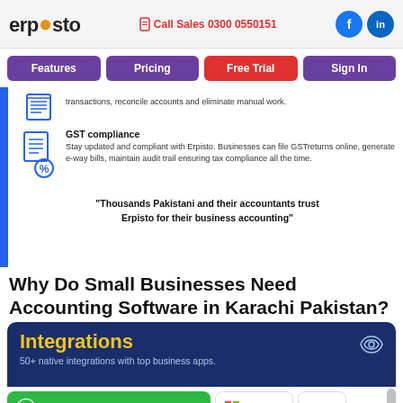ERPOSTO | Call Sales 0300 0550151
Features | Pricing | Free Trial | Sign In
transactions, reconcile accounts and eliminate manual work.
GST compliance
Stay updated and compliant with Erpisto. Businesses can file GSTreturns online, generate e-way bills, maintain audit trail ensuring tax compliance all the time.
"Thousands Pakistani and their accountants trust Erpisto for their business accounting"
Why Do Small Businesses Need Accounting Software in Karachi Pakistan?
[Figure (infographic): Integrations banner: '50+ native integrations with top business apps.' on dark navy background with yellow Integrations heading]
WhatsApp us
[Figure (logo): Office 365 logo badge]
[Figure (logo): Zoom logo badge]